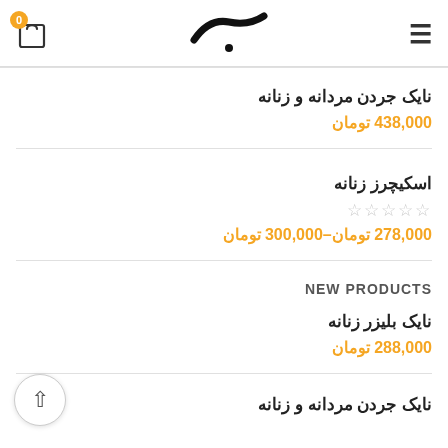0 [cart icon] [logo] [menu]
نایک جردن مردانه و زنانه
438,000 تومان
اسکیچرز زنانه
☆☆☆☆☆
278,000 تومان–300,000 تومان
NEW PRODUCTS
نایک بلیزر زنانه
288,000 تومان
نایک جردن مردانه و زنانه